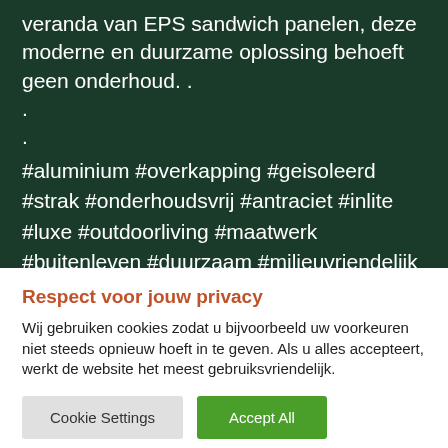veranda van EPS sandwich panelen, deze moderne en duurzame oplossing behoeft geen onderhoud. .
.
.
#aluminium #overkapping #geisoleerd #strak #onderhoudsvrij #antraciet #inlite #luxe #outdoorliving #maatwerk #buitenleven #duurzaam #milieuvriendelijk #daktuin #bk
Respect voor jouw privacy
Wij gebruiken cookies zodat u bijvoorbeeld uw voorkeuren niet steeds opnieuw hoeft in te geven. Als u alles accepteert, werkt de website het meest gebruiksvriendelijk.
Cookie Settings   Accept All